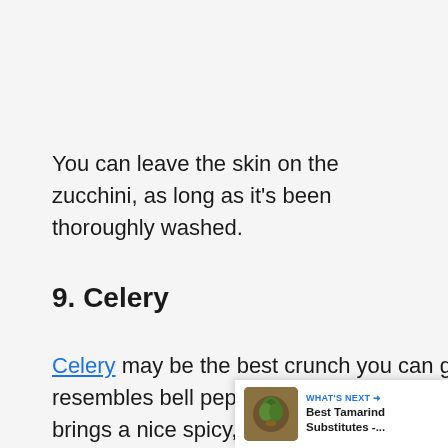You can leave the skin on the zucchini, as long as it's been thoroughly washed.
9. Celery
Celery may be the best crunch you can get, and with a nice flavor too. It resembles bell pepper in a way, without actually being a nightshade. It brings a nice spicy, earthy note to the meal. Be sure to cut it thin !